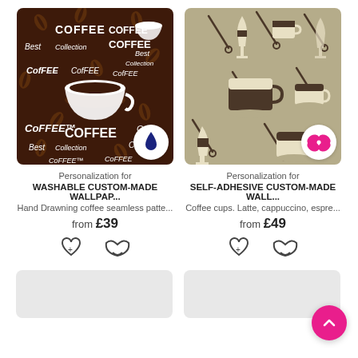[Figure (photo): Dark brown coffee-themed wallpaper with cup illustrations, coffee beans, and 'COFFEE Best Collection' text in white and gold. Water-drop badge in bottom right corner.]
Personalization for
WASHABLE CUSTOM-MADE WALLPAP...
Hand Drawning coffee seamless patte...
from £39
[Figure (photo): Beige/khaki coffee-themed wallpaper with illustrations of various coffee cups (latte, cappuccino, espresso) and spoons. Pink butterfly/scissors badge in bottom right corner.]
Personalization for
SELF-ADHESIVE CUSTOM-MADE WALL...
Coffee cups. Latte, cappuccino, espre...
from £49